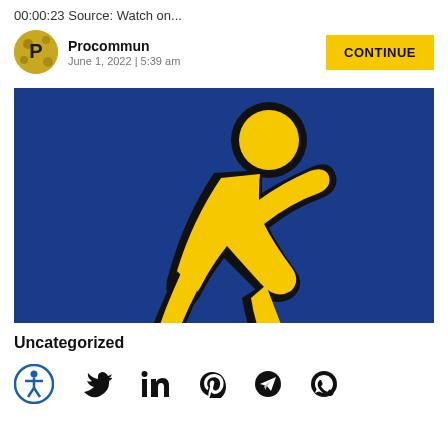00:00:23 Source: Watch on...
Procommun
June 1, 2022 | 5:39 am
[Figure (illustration): Yellow running figure (AOL-style running man icon) on a dark blue background]
Uncategorized
[Figure (infographic): Row of social/accessibility icons: accessibility (person in circle), Twitter, LinkedIn, Pinterest, Telegram, WhatsApp]